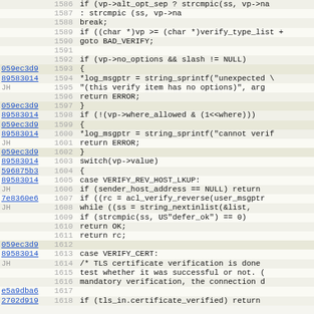[Figure (screenshot): Source code diff/annotated view showing lines 1586-1618 of a C source file with commit hashes in the left margin, line numbers, and code content including verify logic for ACL/TLS verification]